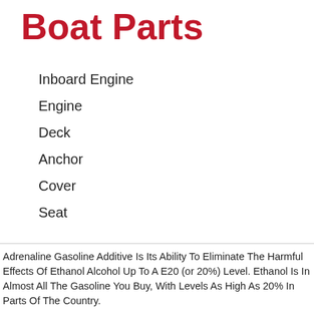Boat Parts
Inboard Engine
Engine
Deck
Anchor
Cover
Seat
Adrenaline Gasoline Additive Is Its Ability To Eliminate The Harmful Effects Of Ethanol Alcohol Up To A E20 (or 20%) Level. Ethanol Is In Almost All The Gasoline You Buy, With Levels As High As 20% In Parts Of The Country.